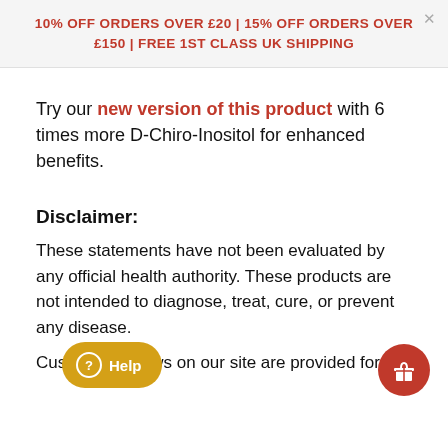10% OFF ORDERS OVER £20 | 15% OFF ORDERS OVER £150 | FREE 1ST CLASS UK SHIPPING
Try our new version of this product with 6 times more D-Chiro-Inositol for enhanced benefits.
Disclaimer:
These statements have not been evaluated by any official health authority. These products are not intended to diagnose, treat, cure, or prevent any disease.
Customer reviews on our site are provided for